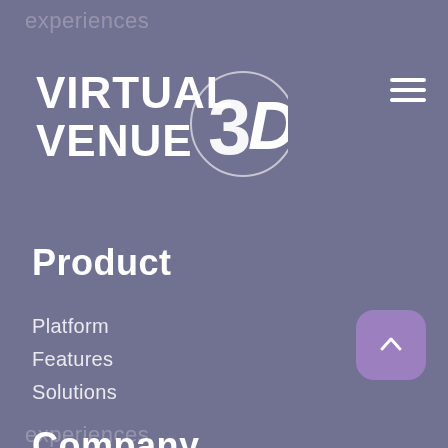[Figure (logo): Virtual Venue 3D logo with stylized '3D' numeral and circle outline, white text on gray background]
Product
Platform
Features
Solutions
Company
About Us